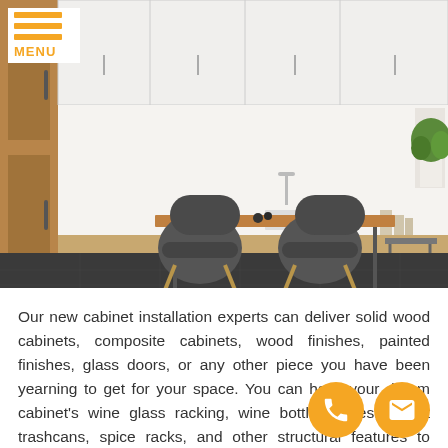[Figure (photo): Modern kitchen interior with white cabinets, stainless steel oven, wooden dining table with dark upholstered chairs on dark tile floor]
Our new cabinet installation experts can deliver solid wood cabinets, composite cabinets, wood finishes, painted finishes, glass doors, or any other piece you have been yearning to get for your space. You can have your dream cabinet's wine glass racking, wine bottle frames, secret trashcans, spice racks, and other structural features to ensure that your cabinets are as functional as you want them to be.